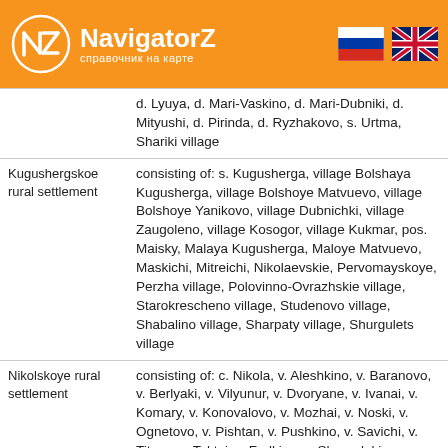[Figure (logo): NavigatorZ logo with orange circle background, NZ letters, and text 'NavigatorZ справочник на карте'. Russian and UK flag icons on the right.]
| Settlement | Composition |
| --- | --- |
|  | d. Lyuya, d. Mari-Vaskino, d. Mari-Dubniki, d. Mityushi, d. Pirinda, d. Ryzhakovo, s. Urtma, Shariki village |
| Kugushergskoe rural settlement | consisting of: s. Kugusherga, village Bolshaya Kugusherga, village Bolshoye Matvuevo, village Bolshoye Yanikovo, village Dubnichki, village Zaugoleno, village Kosogor, village Kukmar, pos. Maisky, Malaya Kugusherga, Maloye Matvuevo, Maskichi, Mitreichi, Nikolaevskie, Pervomayskoye, Perzha village, Polovinno-Ovrazhskie village, Starokrescheno village, Studenovo village, Shabalino village, Sharpaty village, Shurgulets village |
| Nikolskoye rural settlement | consisting of: c. Nikola, v. Aleshkino, v. Baranovo, v. Berlyaki, v. Vilyunur, v. Dvoryane, v. Ivanai, v. Komary, v. Konovalovo, v. Mozhai, v. Noski, v. Ognetovo, v. Pishtan, v. Pushkino, v. Savichi, v. Titovo, v. Toktai, v. Fedkino, v. Shagadaki, |